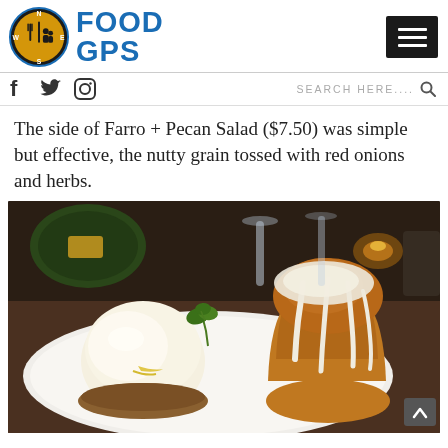FOOD GPS
The side of Farro + Pecan Salad ($7.50) was simple but effective, the nutty grain tossed with red onions and herbs.
[Figure (photo): A white plate with a scoop of vanilla ice cream drizzled with yellow sauce and a sprig of parsley, alongside a glazed muffin with white icing dripping down the sides. Background shows a restaurant table setting with dark green plates, stemware, and a candle.]